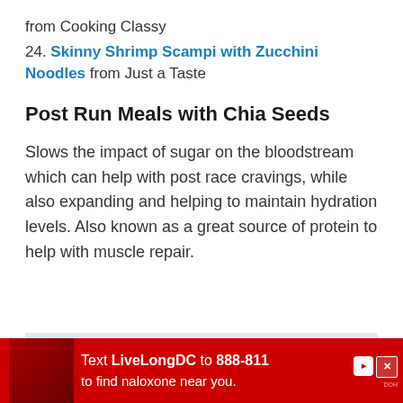from Cooking Classy
24. Skinny Shrimp Scampi with Zucchini Noodles from Just a Taste
Post Run Meals with Chia Seeds
Slows the impact of sugar on the bloodstream which can help with post race cravings, while also expanding and helping to maintain hydration levels. Also known as a great source of protein to help with muscle repair.
[Figure (other): Gray placeholder box for an image]
[Figure (other): Advertisement banner: Text LiveLongDC to 888-811 to find naloxone near you. Red background with photo.]